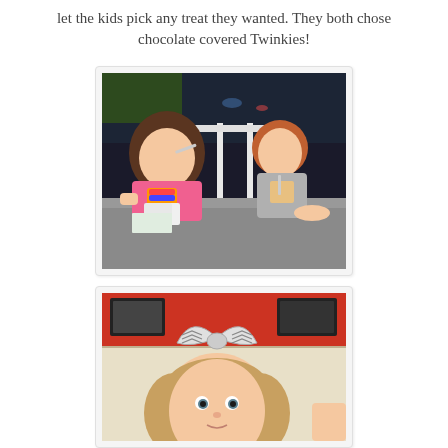let the kids pick any treat they wanted. They both chose chocolate covered Twinkies!
[Figure (photo): Two young children sitting at a gray table eating treats. A girl in a pink shirt on the left and a red-haired boy on the right, both holding cups and spoons. A white railing and dark window are visible in the background.]
[Figure (photo): Close-up of a young girl with a large gray and white chevron bow in her hair, looking at the camera. Orange and beige walls visible in background.]